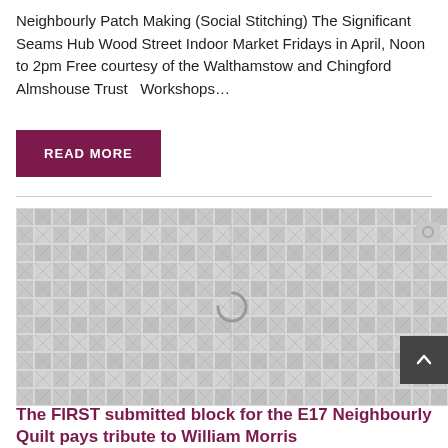Neighbourly Patch Making (Social Stitching) The Significant Seams Hub Wood Street Indoor Market Fridays in April, Noon to 2pm Free courtesy of the Walthamstow and Chingford Almshouse Trust   Workshops…
READ MORE
[Figure (photo): A patchwork quilt pattern image, loading, with a camera icon in the top right area and a loading spinner in the center]
The FIRST submitted block for the E17 Neighbourly Quilt pays tribute to William Morris